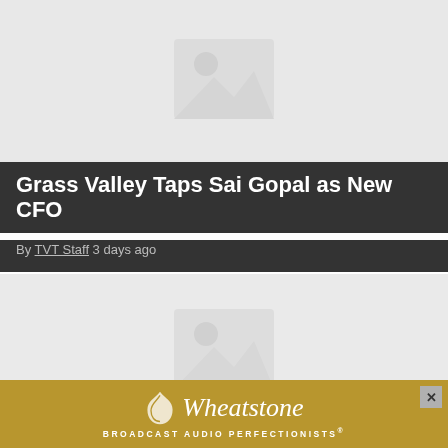[Figure (photo): Placeholder image with mountain/landscape icon for first article]
Grass Valley Taps Sai Gopal as New CFO
By TVT Staff 3 days ago
[Figure (photo): Placeholder image with mountain/landscape icon for second article]
FCC Launches Probe Into Mobile Privacy Practices
[Figure (other): Wheatstone advertisement banner - Broadcast Audio Perfectionists]